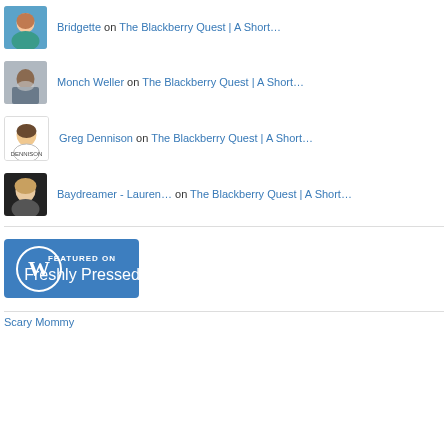Bridgette on The Blackberry Quest | A Short…
Monch Weller on The Blackberry Quest | A Short…
Greg Dennison on The Blackberry Quest | A Short…
Baydreamer - Lauren… on The Blackberry Quest | A Short…
[Figure (logo): WordPress Featured on Freshly Pressed badge]
Scary Mommy